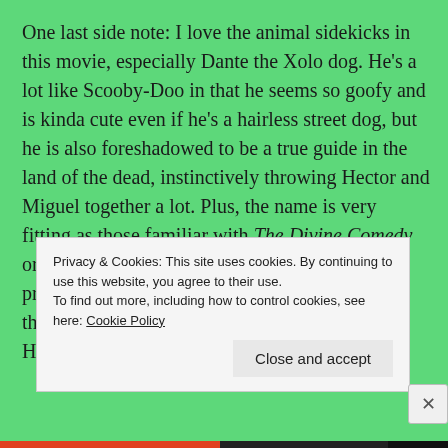One last side note: I love the animal sidekicks in this movie, especially Dante the Xolo dog. He's a lot like Scooby-Doo in that he seems so goofy and is kinda cute even if he's a hairless street dog, but he is also foreshadowed to be a true guide in the land of the dead, instinctively throwing Hector and Miguel together a lot. Plus, the name is very fitting as those familiar with The Divine Comedy or at least Inferno recognize the name from the protagonist of those stories, who literally goes through a journey through Hell, Purgatory, and Heaven.
Privacy & Cookies: This site uses cookies. By continuing to use this website, you agree to their use.
To find out more, including how to control cookies, see here: Cookie Policy
Close and accept